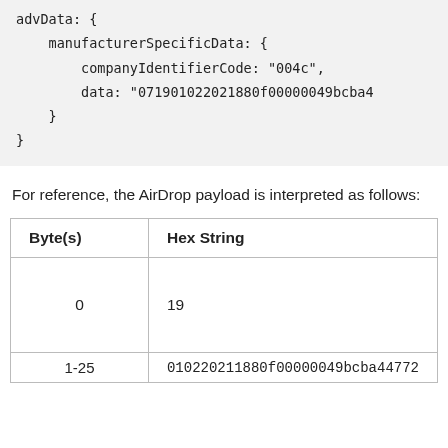advData: {
    manufacturerSpecificData: {
        companyIdentifierCode: "004c",
        data: "071901022021880f00000049bcba4
    }
}
For reference, the AirDrop payload is interpreted as follows:
| Byte(s) | Hex String |
| --- | --- |
| 0 | 19 |
| 1-25 | 010220211880f00000049bcba447720... |